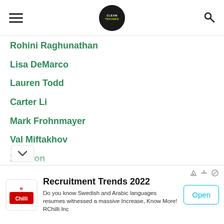CleanTechies header with hamburger menu, logo, and search icon
Rohini Raghunathan
Lisa DeMarco
Lauren Todd
Carter Li
Mark Frohnmayer
Val Miftakhov
Zvi Alon
Lisa Ann Pinkerton
Katie Durham (Ullmann)
Desmond Wheatley
[Figure (screenshot): Advertisement banner for RChilli Recruitment Trends 2022 with Open button]